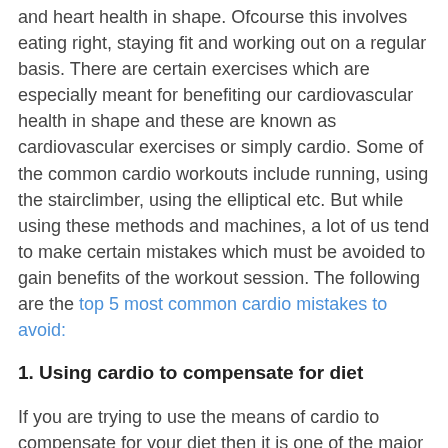and heart health in shape. Ofcourse this involves eating right, staying fit and working out on a regular basis. There are certain exercises which are especially meant for benefiting our cardiovascular health in shape and these are known as cardiovascular exercises or simply cardio. Some of the common cardio workouts include running, using the stairclimber, using the elliptical etc. But while using these methods and machines, a lot of us tend to make certain mistakes which must be avoided to gain benefits of the workout session. The following are the top 5 most common cardio mistakes to avoid:
1. Using cardio to compensate for diet
If you are trying to use the means of cardio to compensate for your diet then it is one of the major mistakes that you are making. You cannot work out on the treadmill and then head to the kitchen for a snack. You have to use both the methods in combination of